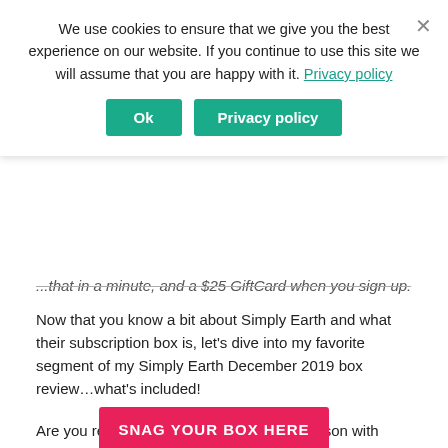We use cookies to ensure that we give you the best experience on our website. If you continue to use this site we will assume that you are happy with it. Privacy policy
Ok | Privacy policy (buttons)
...that in a minute, and a $25 GiftCard when you sign up.
Now that you know a bit about Simply Earth and what their subscription box is, let's dive into my favorite segment of my Simply Earth December 2019 box review…what's included!
Are you ready to infuse your Christmas season with essential oils? I hope so!
SNAG YOUR BOX HERE